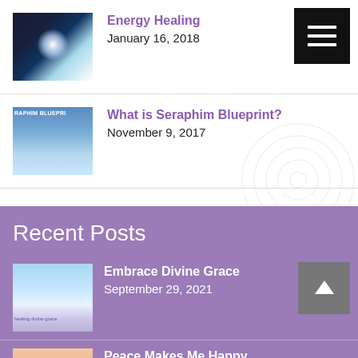Energy Healing
January 16, 2018
What is Seraphim Blueprint?
November 9, 2017
Recent Posts
Embrace Divine Grace
September 29, 2021
Peace Makes Me Happy
August 31, 2021